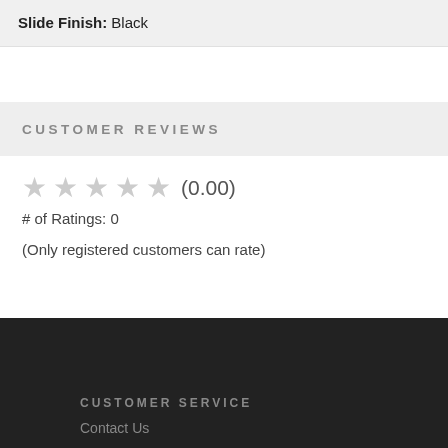Slide Finish: Black
CUSTOMER REVIEWS
★★★★★ (0.00)
# of Ratings: 0
(Only registered customers can rate)
CUSTOMER SERVICE
Contact Us